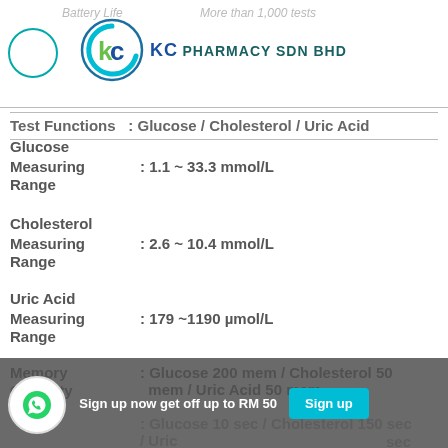Battery Life   More than 1,000 tests
[Figure (logo): KC Pharmacy SDN BHD logo with circular KC emblem]
Test Functions : Glucose / Cholesterol / Uric Acid
Glucose
Measuring Range : 1.1 ~ 33.3 mmol/L
Cholesterol
Measuring Range : 2.6 ~ 10.4 mmol/L
Uric Acid
Measuring Range : 179 ~1190 µmol/L
Memory Capacity : Glucose 200 mem / Cholesterol 50 mem / Uric Acid 50 mem
Response Time : Glucose 10 sec / Cholesterol 150 sec / Uric Acid 30 sec
Sign up now get off up to RM 50
Sign up